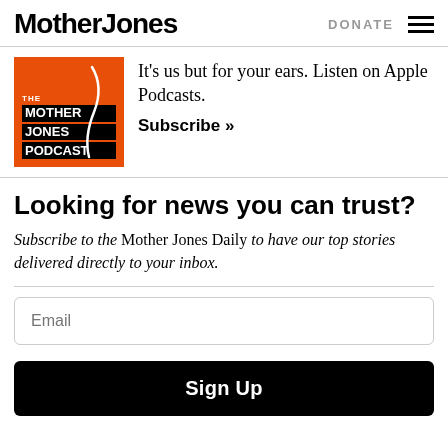Mother Jones | DONATE
[Figure (logo): The Mother Jones Podcast orange logo with black text labels]
It's us but for your ears. Listen on Apple Podcasts.
Subscribe »
Looking for news you can trust?
Subscribe to the Mother Jones Daily to have our top stories delivered directly to your inbox.
Email
Sign Up